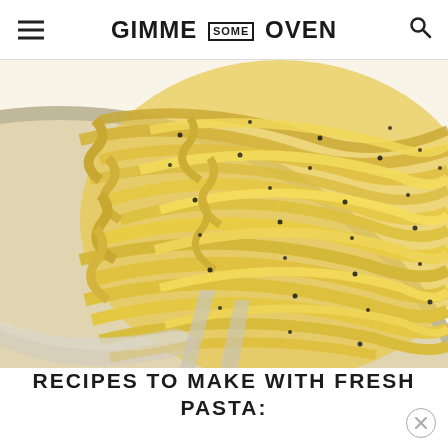GIMME SOME OVEN
[Figure (photo): Close-up photo of fresh tagliatelle pasta in a stainless steel pan, topped with cracked black pepper, on a white background.]
RECIPES TO MAKE WITH FRESH PASTA: